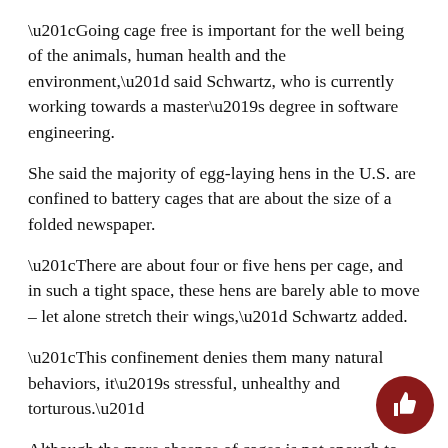“Going cage free is important for the well being of the animals, human health and the environment,” said Schwartz, who is currently working towards a master’s degree in software engineering.
She said the majority of egg-laying hens in the U.S. are confined to battery cages that are about the size of a folded newspaper.
“There are about four or five hens per cage, and in such a tight space, these hens are barely able to move – let alone stretch their wings,” Schwartz added.
“This confinement denies them many natural behaviors, it’s stressful, unhealthy and torturous.”
Although the mere absence of cages is not enough to ensure animal welfare, cage-free systems offer h a significantly improved level of welfare. Hens are